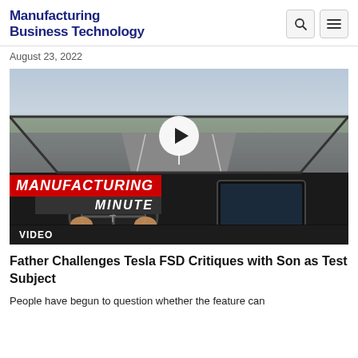Manufacturing Business Technology
August 23, 2022
[Figure (screenshot): Video thumbnail showing interior of a Tesla vehicle with driver hands on wheel, highway ahead, play button overlay. 'Manufacturing Minute' branding in red/dark banner at bottom left. 'VIDEO' label in dark bar at bottom.]
Father Challenges Tesla FSD Critiques with Son as Test Subject
People have begun to question whether the feature can